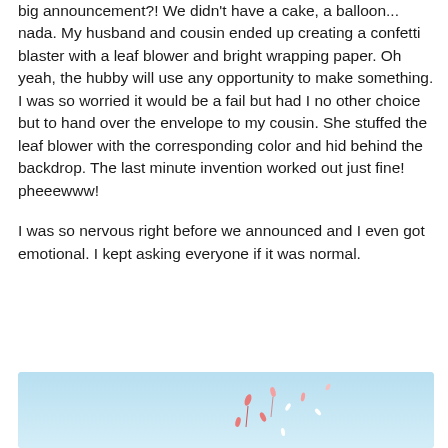big announcement?! We didn't have a cake, a balloon... nada. My husband and cousin ended up creating a confetti blaster with a leaf blower and bright wrapping paper. Oh yeah, the hubby will use any opportunity to make something. I was so worried it would be a fail but had I no other choice but to hand over the envelope to my cousin. She stuffed the leaf blower with the corresponding color and hid behind the backdrop. The last minute invention worked out just fine! pheeewww!
I was so nervous right before we announced and I even got emotional. I kept asking everyone if it was normal.
[Figure (photo): Partial image with light blue background showing what appears to be confetti or small decorative elements in pink and white against a light blue sky background.]